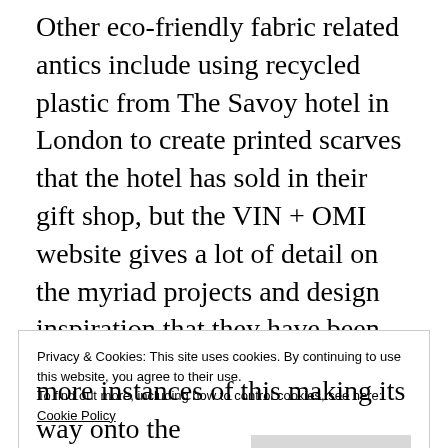Other eco-friendly fabric related antics include using recycled plastic from The Savoy hotel in London to create printed scarves that the hotel has sold in their gift shop, but the VIN + OMI website gives a lot of detail on the myriad projects and design inspiration that they have been involved with, and is well worth checking out.
[Figure (screenshot): WooCommerce advertisement banner: purple background with WooCommerce logo on left, teal arrow shape, text 'How to start selling subscriptions online', orange blob top right, teal blob bottom right. Labeled 'Advertisements' above.]
Privacy & Cookies: This site uses cookies. By continuing to use this website, you agree to their use.
To find out more, including how to control cookies, see here: Cookie Policy

Close and accept
more instances of this making its way onto the